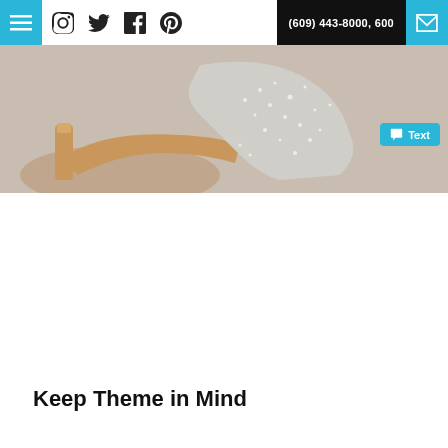(609) 443-8000, 600
[Figure (photo): Wedding-themed photo showing a glittery silver high-heel shoe and a wedding invitation card with script text]
Keep Theme in Mind